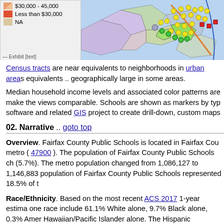[Figure (map): Map legend showing income color bands: $30,000-45,000, Less than $30,000, NA; alongside a choropleth/dot map of an urban area with colored census tracts and school markers]
Census tracts are near equivalents to neighborhoods in urban areas .. equivalents .. geographically large in some areas.
Median household income levels and associated color patterns are .. make the views comparable. Schools are shown as markers by type .. software and related GIS project to create drill-down, custom maps..
02. Narrative .. goto top
Overview. Fairfax County Public Schools is located in Fairfax County.. metro ( 47900 ). The population of Fairfax County Public Schools changed (5.7%). The metro population changed from 1,086,127 to 1,146,883.. population of Fairfax County Public Schools represented 18.5% of t..
Race/Ethnicity. Based on the most recent ACS 2017 1-year estimates.. one race include 61.1% White alone, 9.7% Black alone, 0.3% American Hawaiian/Pacific Islander alone. The Hispanic population (of any race).. more detailed data in section 05 below.
Housing, Households, Economic Situation. Of the district 414,4.. 95.7% of total units. Of the 265,861 owner-occupied units, the med..